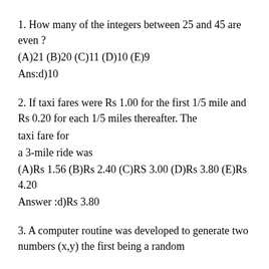1. How many of the integers between 25 and 45 are even ?
(A)21 (B)20 (C)11 (D)10 (E)9
Ans:d)10
2. If taxi fares were Rs 1.00 for the first 1/5 mile and Rs 0.20 for each 1/5 miles thereafter. The taxi fare for a 3-mile ride was
(A)Rs 1.56 (B)Rs 2.40 (C)RS 3.00 (D)Rs 3.80 (E)Rs 4.20
Answer :d)Rs 3.80
3. A computer routine was developed to generate two numbers (x,y) the first being a random